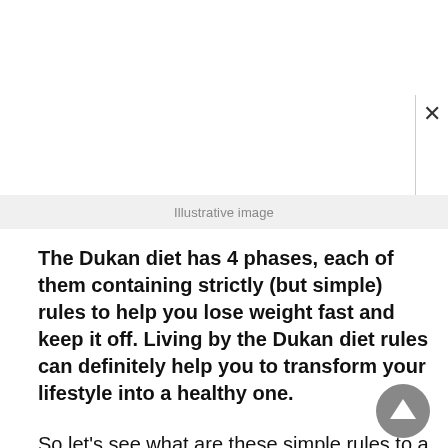[Figure (illustration): White empty image area with a close (X) button on the right side]
Illustrative image
The Dukan diet has 4 phases, each of them containing strictly (but simple) rules to help you lose weight fast and keep it off. Living by the Dukan diet rules can definitely help you to transform your lifestyle into a healthy one.
So let’s see what are these simple rules to a skinnier you.